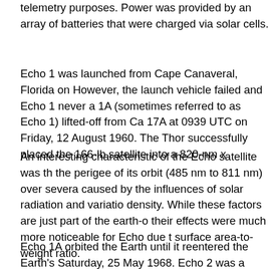telemetry purposes. Power was provided by an array of batteries that were charged via solar cells.
Echo 1 was launched from Cape Canaveral, Florida on However, the launch vehicle failed and Echo 1 never a 1A (sometimes referred to as Echo 1) lifted-off from Ca 17A at 0939 UTC on Friday, 12 August 1960. The Thor successfully placed the 166-lb satellite into a 820-nm x
An interesting characteristic of the Echo satellite was th the perigee of its orbit (485 nm to 811 nm) over severa caused by the influences of solar radiation and variatio density. While these factors are just part of the earth-o their effects were much more noticeable for Echo due t surface area-to-weight ratio.
Echo 1A orbited the Earth until it reentered the Earth's Saturday, 25 May 1968. Echo 2 was a larger and impr